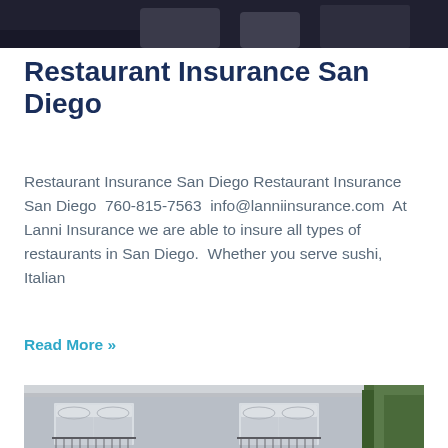[Figure (photo): Top portion of a photo showing people, dark/shadowy image cropped at top of page]
Restaurant Insurance San Diego
Restaurant Insurance San Diego Restaurant Insurance San Diego  760-815-7563  info@lanniinsurance.com  At Lanni Insurance we are able to insure all types of restaurants in San Diego.  Whether you serve sushi, Italian
Read More »
[Figure (photo): Exterior photo of a classic European-style building facade with white-framed windows, balconies with iron railings, and trees on the right side]